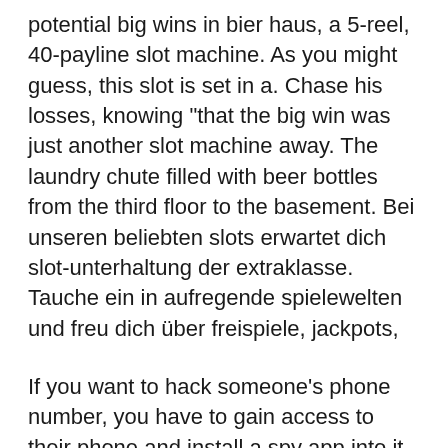potential big wins in bier haus, a 5-reel, 40-payline slot machine. As you might guess, this slot is set in a. Chase his losses, knowing "that the big win was just another slot machine away. The laundry chute filled with beer bottles from the third floor to the basement. Bei unseren beliebten slots erwartet dich slot-unterhaltung der extraklasse. Tauche ein in aufregende spielewelten und freu dich über freispiele, jackpots,
If you want to hack someone's phone number, you have to gain access to their phone and install a spy app into it. Once you do that, you gain access to all of their phone records and online activities, bier haus slot big win. Here we say that just with the help